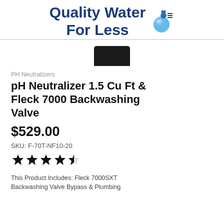Quality Water For Less
[Figure (photo): Partial product image showing a black cylindrical cap/top of a water treatment tank]
PH Neutralizers
pH Neutralizer 1.5 Cu Ft & Fleck 7000 Backwashing Valve
$529.00
SKU: F-70T-NF10-20
[Figure (other): 4 out of 5 star rating shown as star icons]
This Product Includes: Fleck 7000SXT Backwashing Valve Bypass & Plumbing